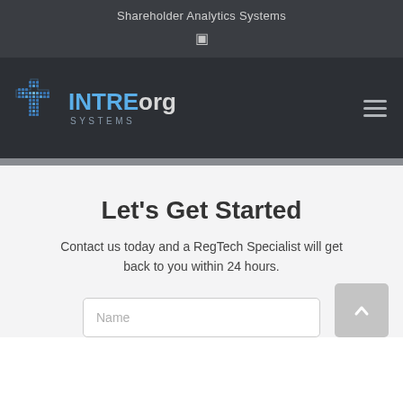Shareholder Analytics Systems
[Figure (logo): INTREorg Systems logo with stylized cross/diamond grid icon in blue and dark theme, with text INTRE in blue, org in light gray, and SYSTEMS in spaced gray letters below]
Let's Get Started
Contact us today and a RegTech Specialist will get back to you within 24 hours.